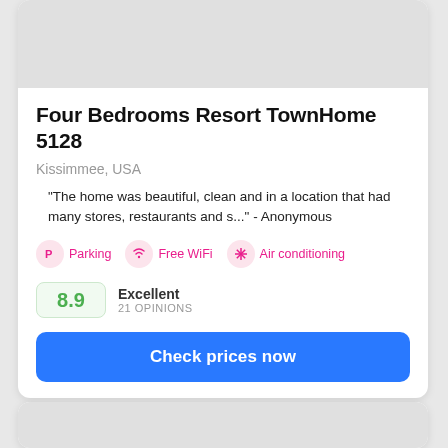[Figure (photo): Gray placeholder image at top of property listing card]
Four Bedrooms Resort TownHome 5128
Kissimmee, USA
"The home was beautiful, clean and in a location that had many stores, restaurants and s..." - Anonymous
Parking
Free WiFi
Air conditioning
8.9 Excellent 21 OPINIONS
Check prices now